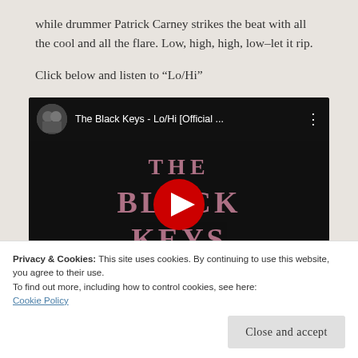while drummer Patrick Carney strikes the beat with all the cool and all the flare. Low, high, high, low–let it rip.
Click below and listen to “Lo/Hi”
[Figure (screenshot): Embedded YouTube video thumbnail showing The Black Keys - Lo/Hi [Official ...] with a red play button over a dark background with pink 'The Black Keys' text]
Privacy & Cookies: This site uses cookies. By continuing to use this website, you agree to their use.
To find out more, including how to control cookies, see here: Cookie Policy
Close and accept